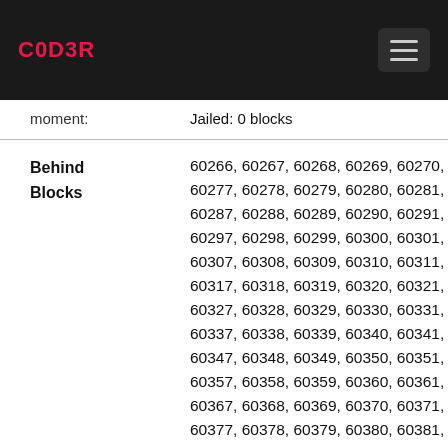C0D3R
moment: Jailed: 0 blocks
Behind Blocks: 60266, 60267, 60268, 60269, 60270, 60271, 60272..., 60277, 60278, 60279, 60280, 60281, 60282, 60283..., 60287, 60288, 60289, 60290, 60291, 60292, 60293..., 60297, 60298, 60299, 60300, 60301, 60302, 60303..., 60307, 60308, 60309, 60310, 60311, 60312, 60313..., 60317, 60318, 60319, 60320, 60321, 60322, 60323..., 60327, 60328, 60329, 60330, 60331, 60332, 60333..., 60337, 60338, 60339, 60340, 60341, 60342, 60343..., 60347, 60348, 60349, 60350, 60351, 60352, 60353..., 60357, 60358, 60359, 60360, 60361, 60362, 60363..., 60367, 60368, 60369, 60370, 60371, 60372, 60373..., 60377, 60378, 60379, 60380, 60381, 60382, 60383..., 60387, 60388, 60389, 60390, 60391, 60392, 60393..., 60397, 60398, 60399, 60400, 60401, 60402, 60403...